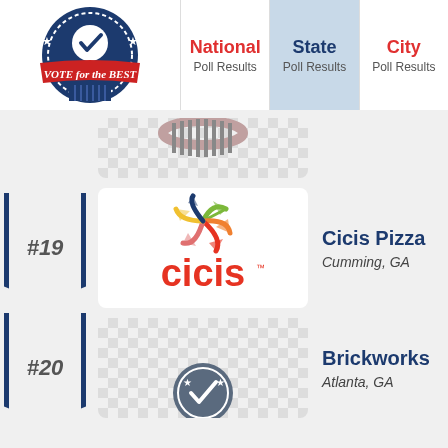[Figure (logo): Vote for the Best circular badge logo with checkmark and stars]
National Poll Results | State Poll Results | City Poll Results
[Figure (illustration): Partial ranking entry placeholder with diamond pattern background]
#19
[Figure (logo): Cicis Pizza logo — colorful pinwheel above red 'cicis' wordmark]
Cicis Pizza
Cumming, GA
#20
[Figure (illustration): Partial Brickworks logo with diamond pattern background and checkmark badge]
Brickworks
Atlanta, GA